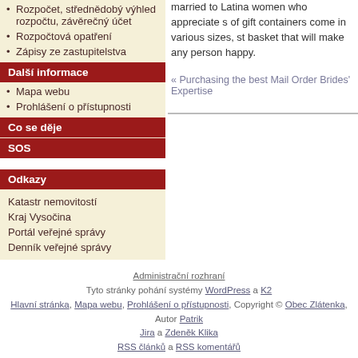Rozpočet, střednědobý výhled rozpočtu, závěrečný účet
Rozpočtová opatření
Zápisy ze zastupitelstva
Další informace
Mapa webu
Prohlášení o přístupnosti
Co se děje
SOS
Odkazy
Katastr nemovitostí
Kraj Vysočina
Portál veřejné správy
Denník veřejné správy
married to Latina women who appreciate s of gift containers come in various sizes, st basket that will make any person happy.
« Purchasing the best Mail Order Brides' Expertise
Administrační rozhraní
Tyto stránky pohání systémy WordPress a K2
Hlavní stránka, Mapa webu, Prohlášení o přístupnosti, Copyright © Obec Zlátenka, Autor Patrik Jira a Zdeněk Klika
RSS článků a RSS komentářů